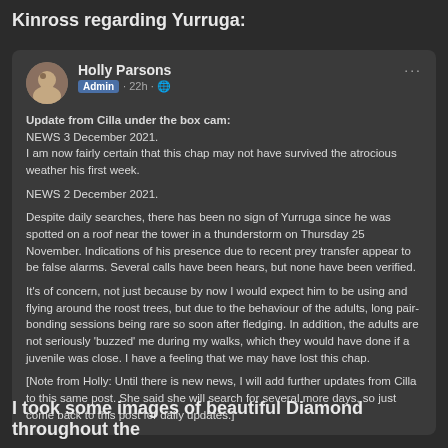Kinross regarding Yurruga:
[Figure (screenshot): Screenshot of a Facebook post by Holly Parsons (Admin, 22h). The post contains text updates about Yurruga from Cilla. NEWS 3 December 2021: uncertain the chap survived atrocious weather. NEWS 2 December 2021: no sign of Yurruga since spotted on roof near tower in thunderstorm on Thursday 25 November. Discusses concern about behavior of adults indicating juvenile may be lost. Note from Holly about future updates.]
I took some images of beautiful Diamond throughout the